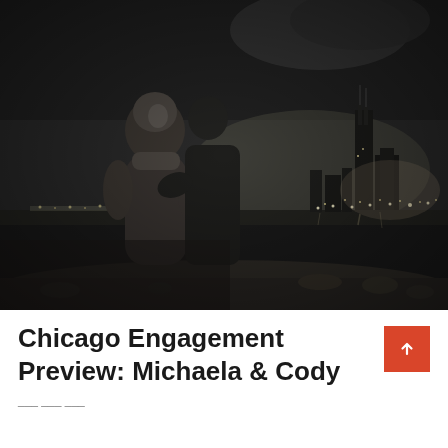[Figure (photo): Black and white nighttime engagement photo of a couple embracing with the Chicago city skyline (including the John Hancock Center) visible in the background across a body of water.]
Chicago Engagement Preview: Michaela & Cody